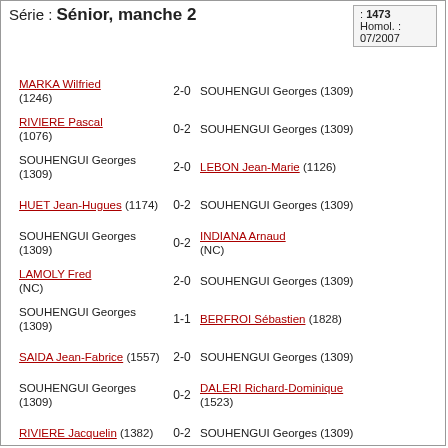Série : Sénior, manche 2
: 1473
Homol. :
07/2007
MARKA Wilfried (1246) 2-0 SOUHENGUI Georges (1309)
RIVIERE Pascal (1076) 0-2 SOUHENGUI Georges (1309)
SOUHENGUI Georges (1309) 2-0 LEBON Jean-Marie (1126)
HUET Jean-Hugues (1174) 0-2 SOUHENGUI Georges (1309)
SOUHENGUI Georges (1309) 0-2 INDIANA Arnaud (NC)
LAMOLY Fred (NC) 2-0 SOUHENGUI Georges (1309)
SOUHENGUI Georges (1309) 1-1 BERFROI Sébastien (1828)
SAIDA Jean-Fabrice (1557) 2-0 SOUHENGUI Georges (1309)
SOUHENGUI Georges (1309) 0-2 DALERI Richard-Dominique (1523)
RIVIERE Jacquelin (1382) 0-2 SOUHENGUI Georges (1309)
SOUHENGUI Georges (1309) 2-0 HIBON Axel (1346)